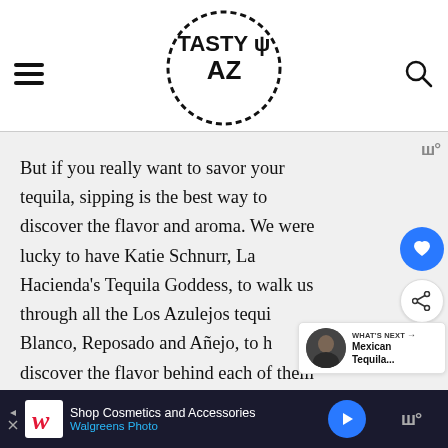TASTY AZ
But if you really want to savor your tequila, sipping is the best way to discover the flavor and aroma. We were lucky to have Katie Schnurr, La Hacienda's Tequila Goddess, to walk us through all the Los Azulejos tequila: Blanco, Reposado and Añejo, to help us discover the flavor behind each of them
[Figure (screenshot): WHAT'S NEXT panel showing Mexican Tequila... with a circular photo of a woman]
[Figure (screenshot): Walgreens Photo advertisement - Shop Cosmetics and Accessories]